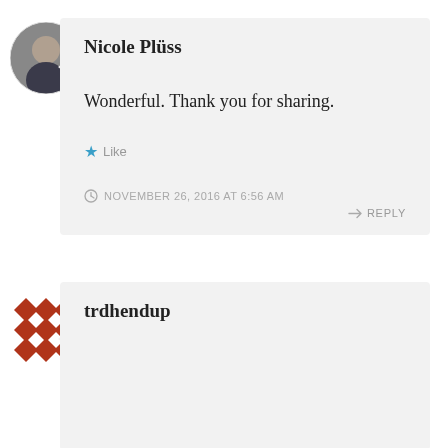Nicole Plüss
Wonderful. Thank you for sharing.
Like
NOVEMBER 26, 2016 AT 6:56 AM
REPLY
trdhendup